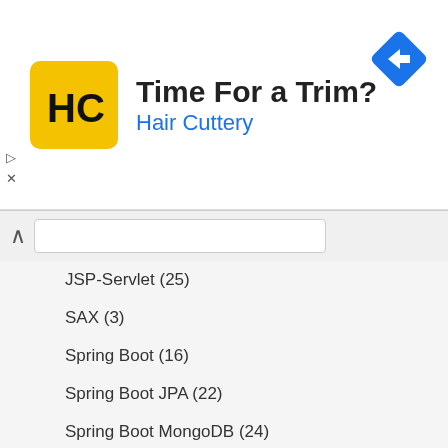[Figure (infographic): Hair Cuttery advertisement banner with logo and 'Time For a Trim?' headline]
JSP-Servlet (25)
SAX (3)
Spring Boot (16)
Spring Boot JPA (22)
Spring Boot MongoDB (24)
Spring Data MongoDB (8)
Spring JMS (30)
Spring MVC (43)
Spring Rest API (5)